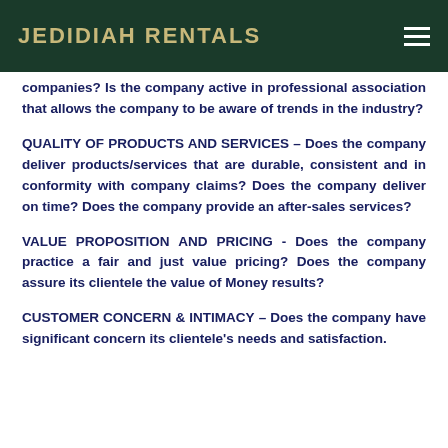JEDIDIAH RENTALS
companies? Is the company active in professional association that allows the company to be aware of trends in the industry?
QUALITY OF PRODUCTS AND SERVICES – Does the company deliver products/services that are durable, consistent and in conformity with company claims? Does the company deliver on time? Does the company provide an after-sales services?
VALUE PROPOSITION AND PRICING - Does the company practice a fair and just value pricing? Does the company assure its clientele the value of Money results?
CUSTOMER CONCERN & INTIMACY – Does the company have significant concern its clientele's needs and satisfaction.